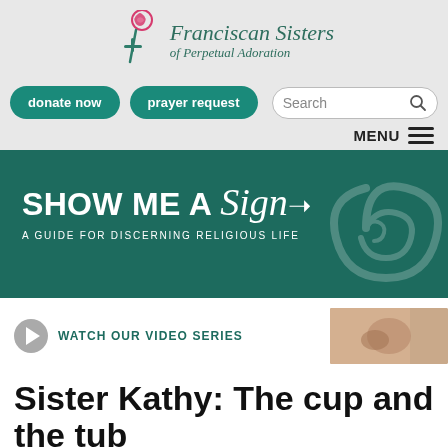[Figure (logo): Franciscan Sisters of Perpetual Adoration logo with pink rose and teal cross]
[Figure (screenshot): Navigation buttons: donate now, prayer request, and Search box]
[Figure (screenshot): MENU hamburger navigation row]
[Figure (illustration): Show Me a Sign - A Guide for Discerning Religious Life banner in dark teal with spiral rose graphic]
[Figure (screenshot): Watch Our Video Series button with thumbnail of clasped hands]
Sister Kathy: The cup and the tub